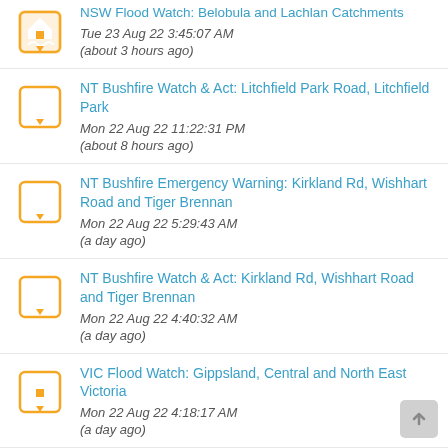NSW Flood Watch: Belobula and Lachlan Catchments
Tue 23 Aug 22 3:45:07 AM
(about 3 hours ago)
NT Bushfire Watch & Act: Litchfield Park Road, Litchfield Park
Mon 22 Aug 22 11:22:31 PM
(about 8 hours ago)
NT Bushfire Emergency Warning: Kirkland Rd, Wishhart Road and Tiger Brennan
Mon 22 Aug 22 5:29:43 AM
(a day ago)
NT Bushfire Watch & Act: Kirkland Rd, Wishhart Road and Tiger Brennan
Mon 22 Aug 22 4:40:32 AM
(a day ago)
VIC Flood Watch: Gippsland, Central and North East Victoria
Mon 22 Aug 22 4:18:17 AM
(a day ago)
VIC Flood Watch: Gippsland, Central and North East